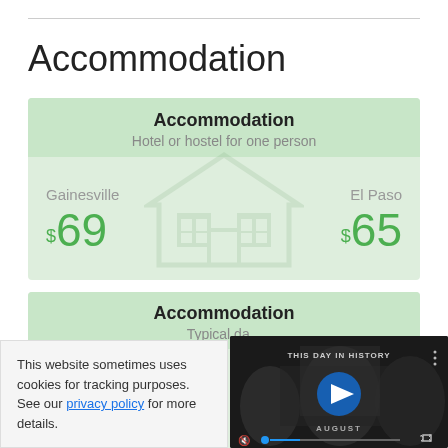Accommodation
[Figure (infographic): Green card showing accommodation comparison: Hotel or hostel for one person. Gainesville $69, El Paso $65]
[Figure (infographic): Second green card showing Accommodation - Typical daily cost, partially obscured by video overlay]
[Figure (screenshot): Video player overlay showing 'THIS DAY IN HISTORY' with play button, AUGUST label, mute/unmute and progress bar controls]
This website sometimes uses cookies for tracking purposes. See our privacy policy for more details.